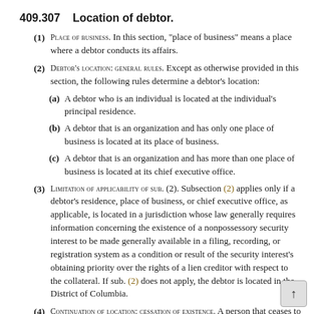409.307    Location of debtor.
(1) PLACE OF BUSINESS. In this section, “place of business” means a place where a debtor conducts its affairs.
(2) DEBTOR'S LOCATION: GENERAL RULES. Except as otherwise provided in this section, the following rules determine a debtor’s location:
(a) A debtor who is an individual is located at the individual’s principal residence.
(b) A debtor that is an organization and has only one place of business is located at its place of business.
(c) A debtor that is an organization and has more than one place of business is located at its chief executive office.
(3) LIMITATION OF APPLICABILITY OF SUB. (2). Subsection (2) applies only if a debtor's residence, place of business, or chief executive office, as applicable, is located in a jurisdiction whose law generally requires information concerning the existence of a nonpossessory security interest to be made generally available in a filing, recording, or registration system as a condition or result of the security interest's obtaining priority over the rights of a lien creditor with respect to the collateral. If sub. (2) does not apply, the debtor is located in the District of Columbia.
(4) CONTINUATION OF LOCATION: CESSATION OF EXISTENCE. A person that ceases to exist, have a residence, or have a place of